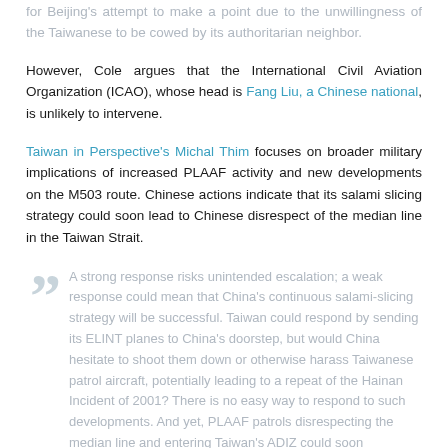for Beijing's attempt to make a point due to the unwillingness of the Taiwanese to be cowed by its authoritarian neighbor.
However, Cole argues that the International Civil Aviation Organization (ICAO), whose head is Fang Liu, a Chinese national, is unlikely to intervene.
Taiwan in Perspective's Michal Thim focuses on broader military implications of increased PLAAF activity and new developments on the M503 route. Chinese actions indicate that its salami slicing strategy could soon lead to Chinese disrespect of the median line in the Taiwan Strait.
A strong response risks unintended escalation; a weak response could mean that China's continuous salami-slicing strategy will be successful. Taiwan could respond by sending its ELINT planes to China's doorstep, but would China hesitate to shoot them down or otherwise harass Taiwanese patrol aircraft, potentially leading to a repeat of the Hainan Incident of 2001? There is no easy way to respond to such developments. And yet, PLAAF patrols disrespecting the median line and entering Taiwan's ADIZ could soon...